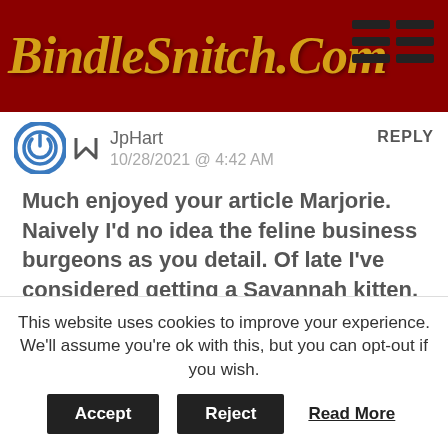BindleSnitch.Com
JpHart
10/28/2021 @ 4:42 AM
REPLY
Much enjoyed your article Marjorie. Naively I'd no idea the feline business burgeons as you detail. Of late I've considered getting a Savannah kitten, but probably will get Amazon's Astro Robot along with its proffered low maintenance — no cute cuddly meows but easier on the white mouse running backwards. Let the caged bird sing I
This website uses cookies to improve your experience. We'll assume you're ok with this, but you can opt-out if you wish.
Accept
Reject
Read More